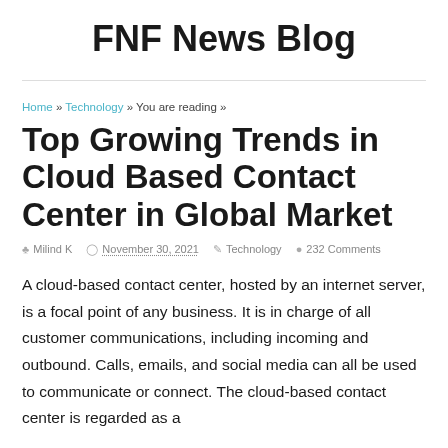FNF News Blog
Home » Technology » You are reading »
Top Growing Trends in Cloud Based Contact Center in Global Market
Milind K   November 30, 2021   Technology   232 Comments
A cloud-based contact center, hosted by an internet server, is a focal point of any business. It is in charge of all customer communications, including incoming and outbound. Calls, emails, and social media can all be used to communicate or connect. The cloud-based contact center is regarded as a